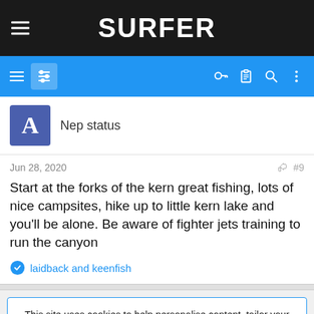SURFER
[Figure (screenshot): Blue navigation bar with hamburger menu, filter icon, and icons for key, clipboard, search, and more options]
Nep status
Jun 28, 2020   #9
Start at the forks of the kern great fishing, lots of nice campsites, hike up to little kern lake and you'll be alone. Be aware of fighter jets training to run the canyon
laidback and keenfish
This site uses cookies to help personalise content, tailor your experience and to keep you logged in if you register.
By continuing to use this site, you are consenting to our use of cookies.
ACCEPT   LEARN MORE...